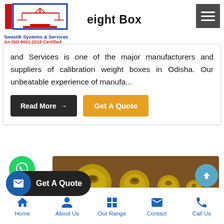[Figure (logo): Swastik Systems & Services logo with scales of justice icon, red and blue colors]
eight Box
and Services is one of the major manufacturers and suppliers of calibration weight boxes in Odisha. Our unbeatable experience of manufa...
[Figure (photo): Photo of brass calibration weights in a wooden box]
Home | About Us | Our Range | Contact | Call Us